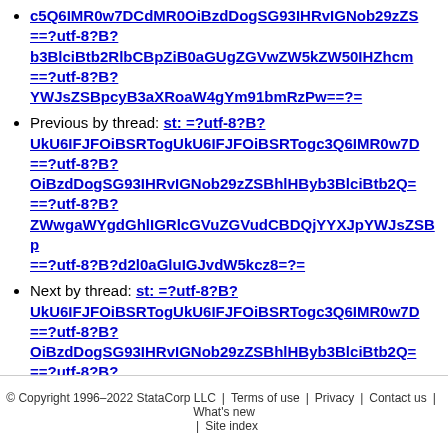st: =?utf-8?B?c5Q6IMR0w7DCdMR0OiBzdDogSG93IHRvIGNob29zZS==?utf-8?B?b3BlciBtb2RlbCBpZiB0aGUgZGVwZW5kZW50IHZhcm==?utf-8?B?YWJsZSBpcyB3aXRoaW4gYm91bmRzPw==?=
Previous by thread: st: =?utf-8?B?UkU6IFJFOiBSRTogUkU6IFJFOiBSRTogc3Q6IMR0w7D==?utf-8?B?OiBzdDogSG93IHRvIGNob29zZSBhlHByb3BlciBtb2Q9==?utf-8?B?ZWwgaWYgdGhlIGRlcGVuZGVudCBDQjYYXJpYWJsZSBp==?utf-8?B?d2l0aGluIGJvdW5kcz8=?=
Next by thread: st: =?utf-8?B?UkU6IFJFOiBSRTogUkU6IFJFOiBSRTogc3Q6IMR0w7D==?utf-8?B?OiBzdDogSG93IHRvIGNob29zZSBhlHByb3BlciBtb2Q9==?utf-8?B?ZWwgaWYgdGhlIGRlcGVuZGVudCBDQjYYXJpYWJsZSBp==?utf-8?B?d2l0aGluIGJvdW5kcz8=?=
Index(es): Date, Thread
© Copyright 1996–2022 StataCorp LLC | Terms of use | Privacy | Contact us | What's new | Site index